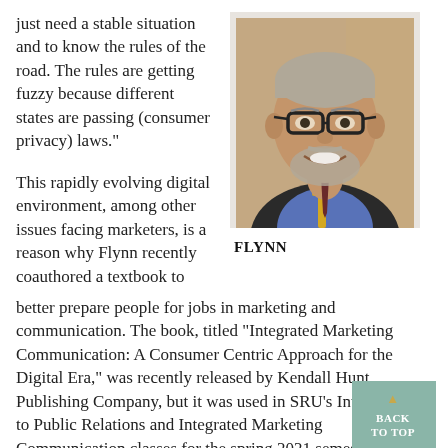just need a stable situation and to know the rules of the road. The rules are getting fuzzy because different states are passing (consumer privacy) laws."
[Figure (photo): Headshot of Flynn, a man wearing glasses, a blue shirt, dark jacket, and a gold and dark lanyard/ribbon, smiling at the camera.]
FLYNN
This rapidly evolving digital environment, among other issues facing marketers, is a reason why Flynn recently coauthored a textbook to better prepare people for jobs in marketing and communication. The book, titled "Integrated Marketing Communication: A Consumer Centric Approach for the Digital Era," was recently released by Kendall Hunt Publishing Company, but it was used in SRU's Introduction to Public Relations and Integrated Marketing Communication classes for the spring 2021 semester.
"The strength of our program at SRU is that it's applied."